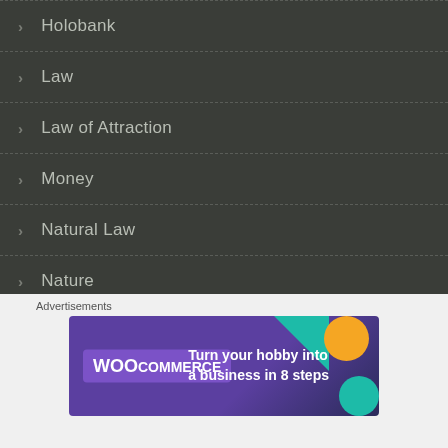Holobank
Law
Law of Attraction
Money
Natural Law
Nature
New Age
Pi...
Advertisements
[Figure (illustration): WooCommerce advertisement banner: Turn your hobby into a business in 8 steps]